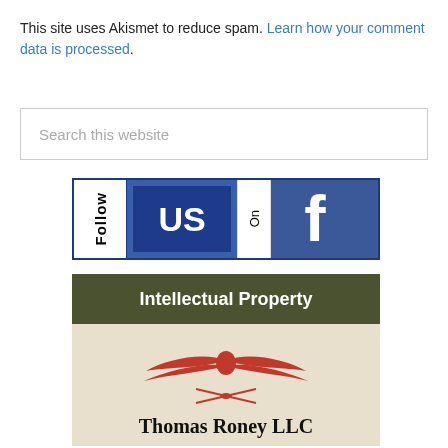This site uses Akismet to reduce spam. Learn how your comment data is processed.
[Figure (screenshot): Search this website input box]
[Figure (logo): Follow Us On Facebook banner with Facebook logo]
[Figure (logo): Thomas Roney LLC Intellectual Property logo with eagle emblem]